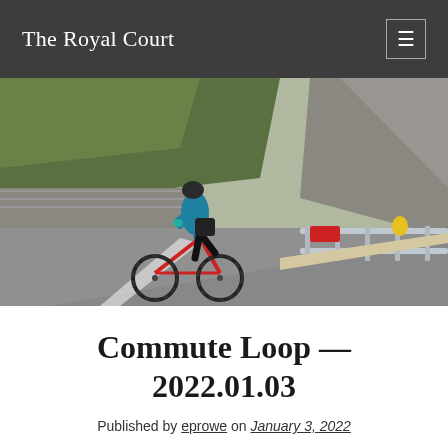The Royal Court
[Figure (photo): A cyclist in a blue jacket and black helmet riding a red road bike on a winding mountain road with guardrails and green hillside. Another cyclist visible in the distance.]
Commute Loop — 2022.01.03
Published by eprowe on January 3, 2022